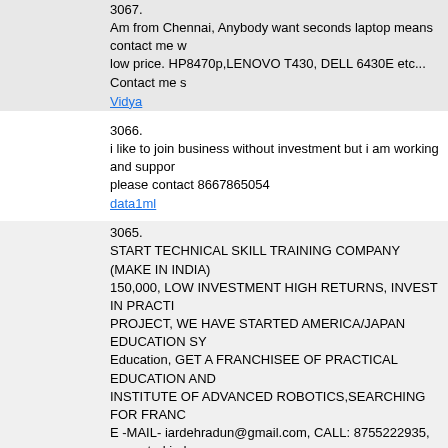3067. Am from Chennai, Anybody want seconds laptop means contact me with low price. HP8470p,LENOVO T430, DELL 6430E etc... Contact me s
Vidya
3066. i like to join business without investment but i am working and support please contact 8667865054
data1ml
3065. START TECHNICAL SKILL TRAINING COMPANY (MAKE IN INDIA) 150,000, LOW INVESTMENT HIGH RETURNS, INVEST IN PRACTI PROJECT, WE HAVE STARTED AMERICA/JAPAN EDUCATION SY Education, GET A FRANCHISEE OF PRACTICAL EDUCATION AND INSTITUTE OF ADVANCED ROBOTICS,SEARCHING FOR FRANC E -MAIL- iardehradun@gmail.com, CALL: 8755222935, www.starkind
iarkerala8
3064. JOB ORIENTED TRAINING INSTITUTE (MAKE IN INDIA) AND EAR LOW INVESTMENT HIGH RETURNS, INVEST IN PRACTICAL EDUC STARTED AMERICA/JAPAN EDUCATION SYSTEM IN INDIA, A New FRANCHISEE OF PRACTICAL EDUCATION AND ROBOTICS INST ADVANCED ROBOTICS,SEARCHING FOR FRANCHISEE PARTNER iardehradun@gmail.com, CALL: 8755222935, www.starkindustries.in https://www.facebook.com/gr
iarkerala8
3063. START TECHNICAL SKILL DEVELOPMENT INSTITUTE (MAKE IN I TO 150,000, LOW INVESTMENT HIGH RETURNS, INVEST IN PRA